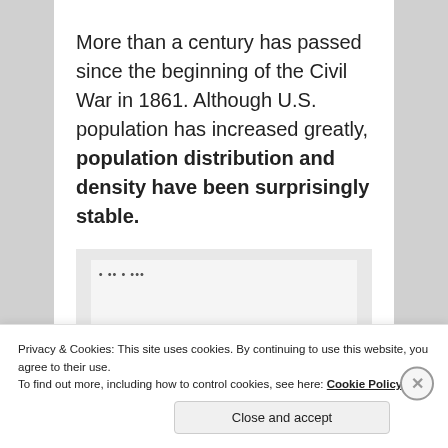More than a century has passed since the beginning of the Civil War in 1861. Although U.S. population has increased greatly, population distribution and density have been surprisingly stable.
[Figure (other): Partially visible map or chart image, cut off by cookie consent banner]
Privacy & Cookies: This site uses cookies. By continuing to use this website, you agree to their use. To find out more, including how to control cookies, see here: Cookie Policy